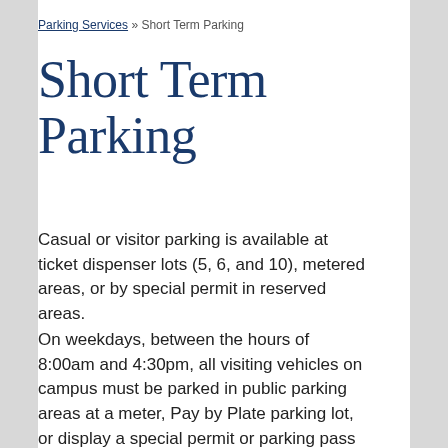Parking Services » Short Term Parking
Short Term Parking
Casual or visitor parking is available at ticket dispenser lots (5, 6, and 10), metered areas, or by special permit in reserved areas.
On weekdays, between the hours of 8:00am and 4:30pm, all visiting vehicles on campus must be parked in public parking areas at a meter, Pay by Plate parking lot, or display a special permit or parking pass purchased from Parking Services.